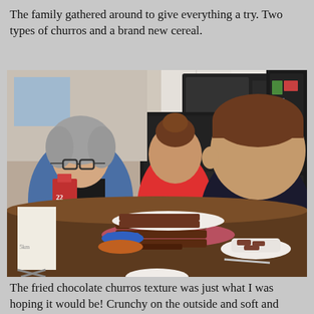The family gathered around to give everything a try. Two types of churros and a brand new cereal.
[Figure (photo): A grandmother and two young children sitting at a kitchen table tasting churros and cereal. The table has plates of churros, bowls, a blue bowl, and a milk container. The kitchen background shows white cabinets, a black refrigerator, and a black stove.]
The fried chocolate churros texture was just what I was hoping it would be! Crunchy on the outside and soft and